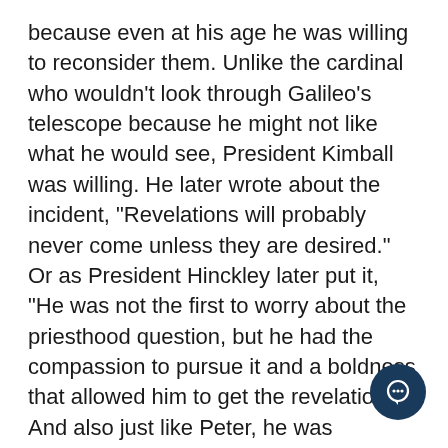because even at his age he was willing to reconsider them. Unlike the cardinal who wouldn't look through Galileo's telescope because he might not like what he would see, President Kimball was willing. He later wrote about the incident, "Revelations will probably never come unless they are desired." Or as President Hinckley later put it, "He was not the first to worry about the priesthood question, but he had the compassion to pursue it and a boldness that allowed him to get the revelation."41 And also just like Peter, he was astonished when it came.
Most everyone I knew was thrilled about the change, and pretty predictably within a generation or so young people didn't understand what a big deal it had been and assumed it was obviously good. In a few more